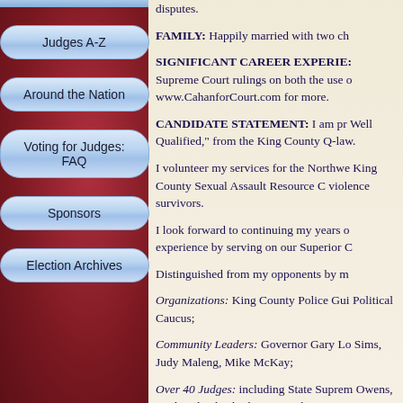Judges A-Z
Around the Nation
Voting for Judges: FAQ
Sponsors
Election Archives
disputes.
FAMILY: Happily married with two ch
SIGNIFICANT CAREER EXPERIE: Supreme Court rulings on both the use of... www.CahanforCourt.com for more.
CANDIDATE STATEMENT: I am pr... Well Qualified," from the King County... Q-law.
I volunteer my services for the Northwe... King County Sexual Assault Resource C... violence survivors.
I look forward to continuing my years o... experience by serving on our Superior C
Distinguished from my opponents by m
Organizations: King County Police Gui... Political Caucus;
Community Leaders: Governor Gary Lo... Sims, Judy Maleng, Mike McKay;
Over 40 Judges: including State Suprem... Owens, Faith Ireland, Charles Z. Smith,